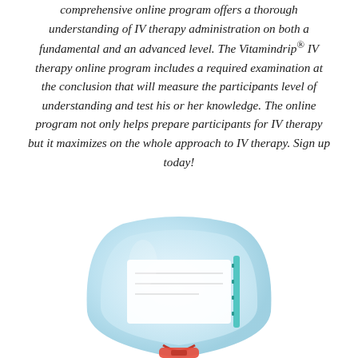comprehensive online program offers a thorough understanding of IV therapy administration on both a fundamental and an advanced level. The Vitamindrip® IV therapy online program includes a required examination at the conclusion that will measure the participants level of understanding and test his or her knowledge. The online program not only helps prepare participants for IV therapy but it maximizes on the whole approach to IV therapy. Sign up today!
[Figure (illustration): An IV bag/drip bag illustration shown partially, with a clear bag containing liquid, a label, and tubing with connectors visible at the bottom.]